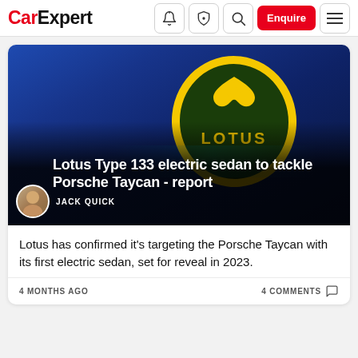CarExpert — navigation bar with logo, icons, Enquire button, and menu
[Figure (photo): Lotus badge/emblem on a deep blue car surface — yellow oval with the Lotus logo and text LOTUS in dark green, with a slightly teal reflection. Overlaid with article headline text and author byline.]
Lotus Type 133 electric sedan to tackle Porsche Taycan - report
JACK QUICK
Lotus has confirmed it's targeting the Porsche Taycan with its first electric sedan, set for reveal in 2023.
4 MONTHS AGO    4 COMMENTS